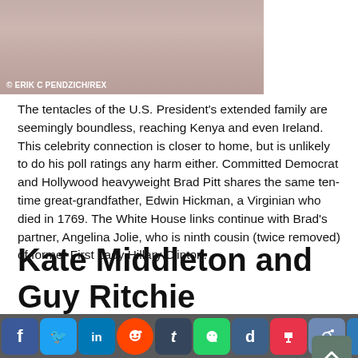[Figure (photo): Close-up photo of a person's face/neck, bottom portion visible]
© ERIK C PENDZICH/REX
The tentacles of the U.S. President's extended family are seemingly boundless, reaching Kenya and even Ireland. This celebrity connection is closer to home, but is unlikely to do his poll ratings any harm either. Committed Democrat and Hollywood heavyweight Brad Pitt shares the same ten-time great-grandfather, Edwin Hickman, a Virginian who died in 1769. The White House links continue with Brad's partner, Angelina Jolie, who is ninth cousin (twice removed) of former First Lady Hillary Clinton.
Kate Middleton and Guy Ritchie
[Figure (screenshot): Social media sharing button bar with Facebook, Twitter, LinkedIn, Reddit, Tumblr, WhatsApp, Digg, Pocket, Klout, Email, Plus, and count buttons]